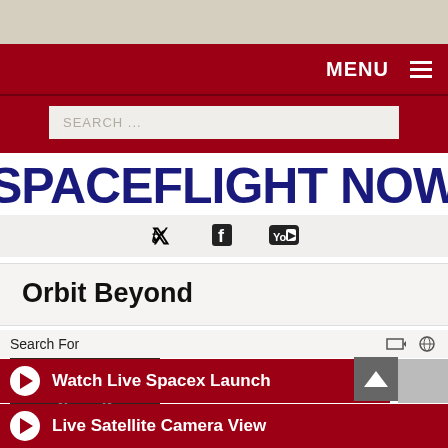MENU
SEARCH ...
SPACEFLIGHT NOW
[Figure (screenshot): Social media icons: Twitter, Facebook, YouTube]
Orbit Beyond
[Figure (photo): Lunar lander spacecraft rendering, dark background]
NASA terminates lunar lander contract with OrbitBeyond
July 30, 2019
Search For
Watch Live Spacex Launch
Live Satellite Camera View